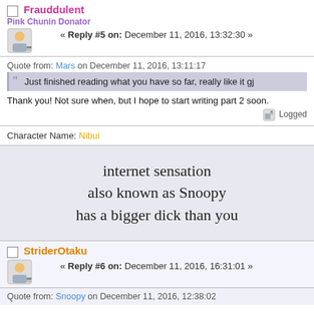Frauddulent
Pink Chunin Donator
« Reply #5 on: December 11, 2016, 13:32:30 »
Quote from: Mars on December 11, 2016, 13:11:17
Just finished reading what you have so far, really like it gj
Thank you! Not sure when, but I hope to start writing part 2 soon.
Logged
Character Name: Nibui
internet sensation
also known as Snoopy
has a bigger dick than you
StriderOtaku
« Reply #6 on: December 11, 2016, 16:31:01 »
Quote from: Snoopy on December 11, 2016, 12:38:02